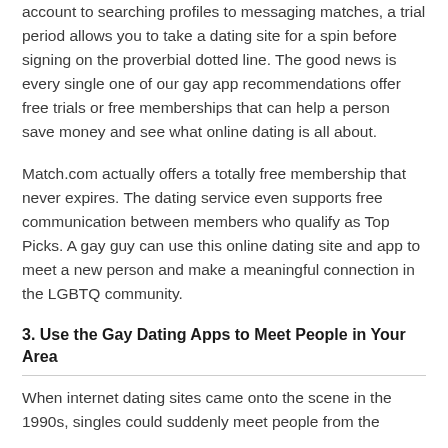account to searching profiles to messaging matches, a trial period allows you to take a dating site for a spin before signing on the proverbial dotted line. The good news is every single one of our gay app recommendations offer free trials or free memberships that can help a person save money and see what online dating is all about.
Match.com actually offers a totally free membership that never expires. The dating service even supports free communication between members who qualify as Top Picks. A gay guy can use this online dating site and app to meet a new person and make a meaningful connection in the LGBTQ community.
3. Use the Gay Dating Apps to Meet People in Your Area
When internet dating sites came onto the scene in the 1990s, singles could suddenly meet people from the